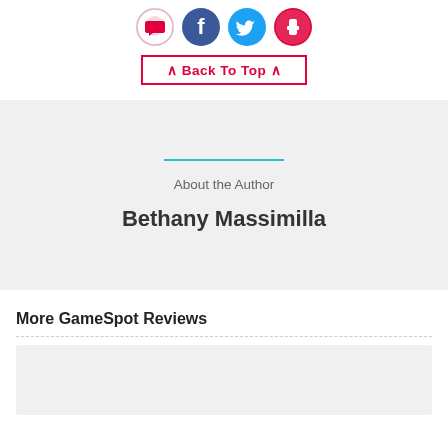[Figure (infographic): Four social media icon circles (pink/red comment, Facebook blue, Twitter cyan, red/pink tumblr) and a crimson-bordered Back To Top button with chevrons]
About the Author
Bethany Massimilla
More GameSpot Reviews